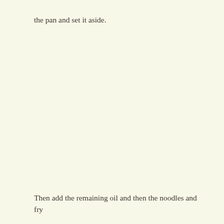the pan and set it aside.
Then add the remaining oil and then the noodles and fry